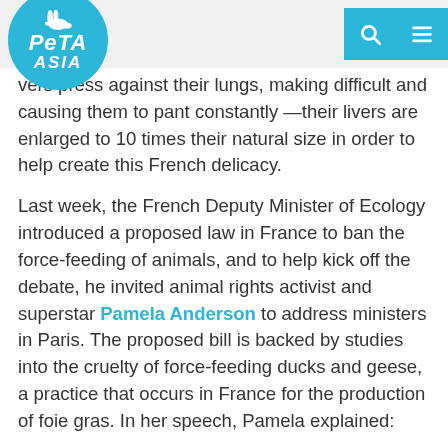PETA ASIA
vers press against their lungs, making difficult and causing them to pant constantly —their livers are enlarged to 10 times their natural size in order to help create this French delicacy.
Last week, the French Deputy Minister of Ecology introduced a proposed law in France to ban the force-feeding of animals, and to help kick off the debate, he invited animal rights activist and superstar Pamela Anderson to address ministers in Paris. The proposed bill is backed by studies into the cruelty of force-feeding ducks and geese, a practice that occurs in France for the production of foie gras. In her speech, Pamela explained:
[W]e need to evolve beyond